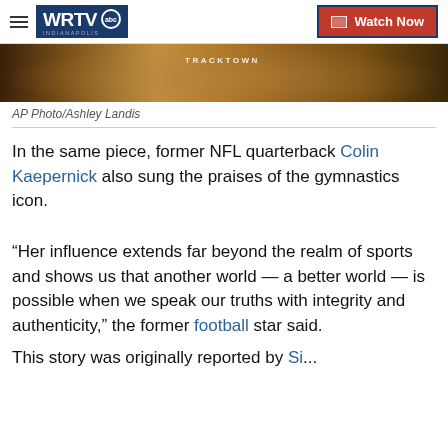WRTV Indianapolis | Watch Now
[Figure (photo): Cropped sports photo showing an athlete wearing a Tracktown uniform/bib]
AP Photo/Ashley Landis
In the same piece, former NFL quarterback Colin Kaepernick also sung the praises of the gymnastics icon.
“Her influence extends far beyond the realm of sports and shows us that another world — a better world — is possible when we speak our truths with integrity and authenticity,” the former football star said.
This story was originally reported by Si...